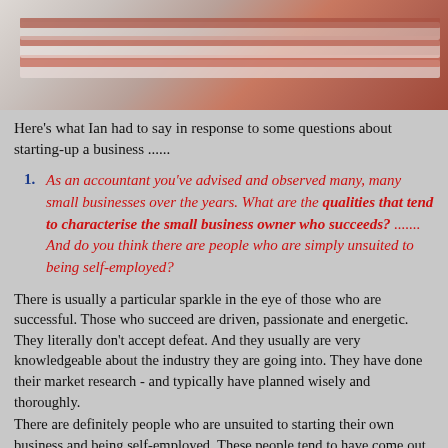[Figure (photo): Partial view of stacked books or folders with reddish-brown spine, shot from close angle on light background]
Here's what Ian had to say in response to some questions about starting-up a business ......
1. As an accountant you've advised and observed many, many small businesses over the years. What are the qualities that tend to characterise the small business owner who succeeds? ....... And do you think there are people who are simply unsuited to being self-employed?
There is usually a particular sparkle in the eye of those who are successful. Those who succeed are driven, passionate and energetic. They literally don't accept defeat. And they usually are very knowledgeable about the industry they are going into. They have done their market research - and typically have planned wisely and thoroughly.
There are definitely people who are unsuited to starting their own business and being self-employed. These people tend to have come out of jobs where they have been used to working structured 9.00 -5.00 hours and being told what to do. They have difficulty applying the